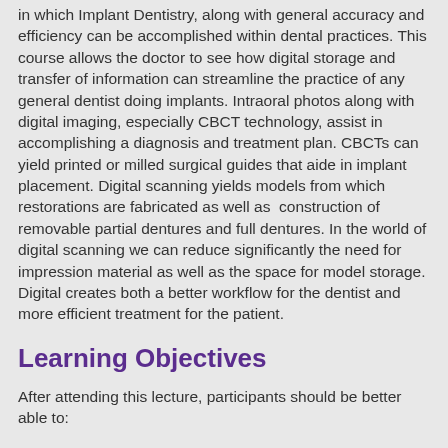in which Implant Dentistry, along with general accuracy and efficiency can be accomplished within dental practices. This course allows the doctor to see how digital storage and transfer of information can streamline the practice of any general dentist doing implants. Intraoral photos along with digital imaging, especially CBCT technology, assist in accomplishing a diagnosis and treatment plan. CBCTs can yield printed or milled surgical guides that aide in implant placement. Digital scanning yields models from which restorations are fabricated as well as  construction of removable partial dentures and full dentures. In the world of digital scanning we can reduce significantly the need for impression material as well as the space for model storage. Digital creates both a better workflow for the dentist and more efficient treatment for the patient.
Learning Objectives
After attending this lecture, participants should be better able to: